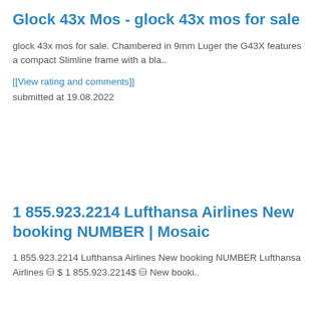Glock 43x Mos - glock 43x mos for sale
glock 43x mos for sale. Chambered in 9mm Luger the G43X features a compact Slimline frame with a bla..
[[View rating and comments]]
submitted at 19.08.2022
1 855.923.2214 Lufthansa Airlines New booking NUMBER | Mosaic
1 855.923.2214 Lufthansa Airlines New booking NUMBER Lufthansa Airlines ⛁ $ 1 855.923.2214$ ⛁ New booki..